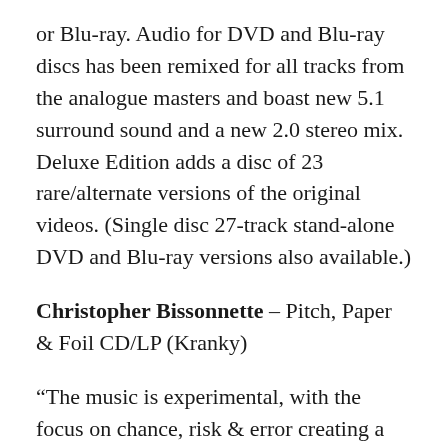or Blu-ray. Audio for DVD and Blu-ray discs has been remixed for all tracks from the analogue masters and boast new 5.1 surround sound and a new 2.0 stereo mix. Deluxe Edition adds a disc of 23 rare/alternate versions of the original videos. (Single disc 27-track stand-alone DVD and Blu-ray versions also available.)
Christopher Bissonnette – Pitch, Paper & Foil CD/LP (Kranky)
“The music is experimental, with the focus on chance, risk & error creating a beautifully natural, organic sound. It’s a stunning albu[m with] its snaking lines of synth radiating with inner